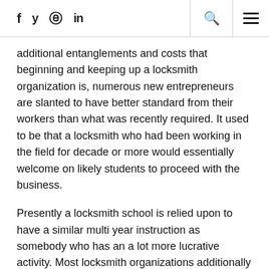f  y  ⊕  in  🔍  ☰
additional entanglements and costs that beginning and keeping up a locksmith organization is, numerous new entrepreneurs are slanted to have better standard from their workers than what was recently required. It used to be that a locksmith who had been working in the field for decade or more would essentially welcome on likely students to proceed with the business.
Presently a locksmith school is relied upon to have a similar multi year instruction as somebody who has an a lot more lucrative activity. Most locksmith organizations additionally necessitate that the candidate have some instruction in arithmetic and